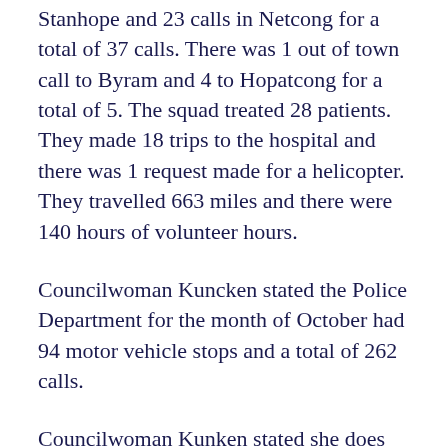Stanhope and 23 calls in Netcong for a total of 37 calls. There was 1 out of town call to Byram and 4 to Hopatcong for a total of 5. The squad treated 28 patients. They made 18 trips to the hospital and there was 1 request made for a helicopter. They travelled 663 miles and there were 140 hours of volunteer hours.
Councilwoman Kuncken stated the Police Department for the month of October had 94 motor vehicle stops and a total of 262 calls.
Councilwoman Kunken stated she does not have a report from the Fire Department which is unusual.
Mayor Zdichocki asked if any of the departments